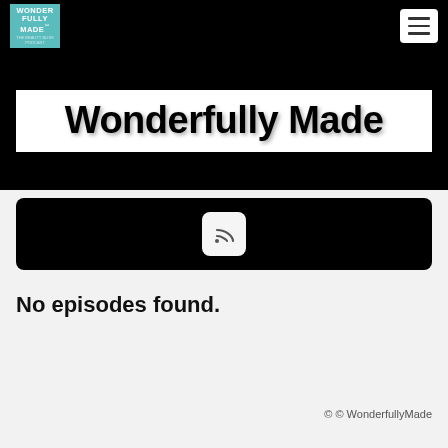Wonderfully Made — navigation bar with logo and hamburger menu
Wonderfully Made
[Figure (other): Black banner with a white rounded-square RSS feed icon button in the center]
No episodes found.
© © WonderfullyMade